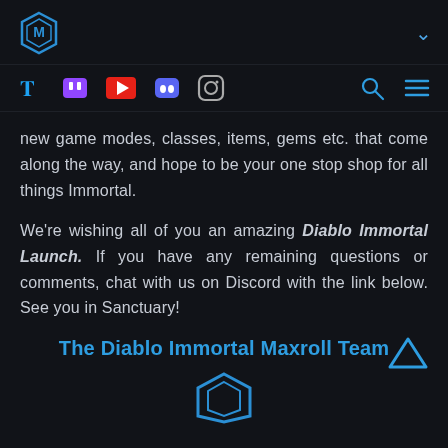Maxroll logo and navigation header with social icons (Twitter, Twitch, YouTube, Discord, Instagram), search and menu
new game modes, classes, items, gems etc. that come along the way, and hope to be your one stop shop for all things Immortal.
We're wishing all of you an amazing Diablo Immortal Launch. If you have any remaining questions or comments, chat with us on Discord with the link below. See you in Sanctuary!
The Diablo Immortal Maxroll Team
[Figure (logo): Maxroll hexagonal box logo at bottom center, blue outline]